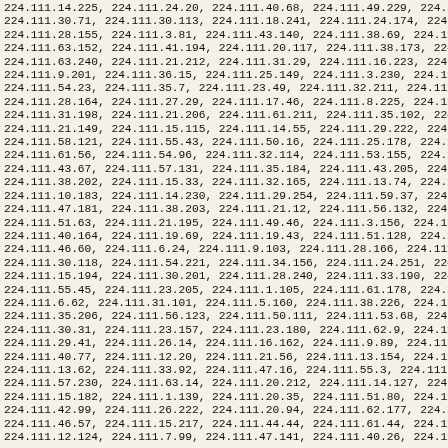224.111.14.225, 224.111.24.20, 224.111.40.68, 224.111.49.229, 224.111.34.17... 224.111.12.124, 224.111.7.99, 224.111.47.141, 224.111.40.26, 224.111.62...